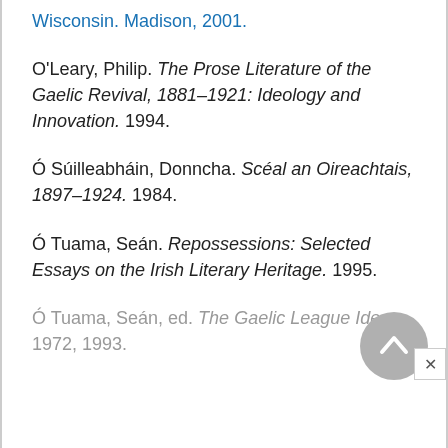Wisconsin. Madison, 2001.
O'Leary, Philip. The Prose Literature of the Gaelic Revival, 1881–1921: Ideology and Innovation. 1994.
Ó Súilleabháin, Donncha. Scéal an Oireachtais, 1897–1924. 1984.
Ó Tuama, Seán. Repossessions: Selected Essays on the Irish Literary Heritage. 1995.
Ó Tuama, Seán, ed. The Gaelic League Idea, 1972, 1993.